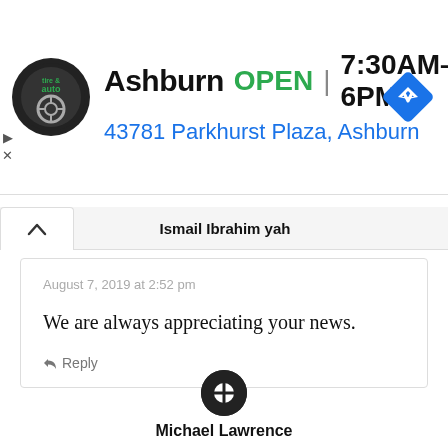[Figure (screenshot): Advertisement banner for Ashburn tire and auto shop showing logo, OPEN status, hours 7:30AM–6PM, address 43781 Parkhurst Plaza Ashburn, and navigation icon]
Ismail Ibrahim yah
August 7, 2019 at 2:52 pm
We are always appreciating your news.
Reply
Michael Lawrence